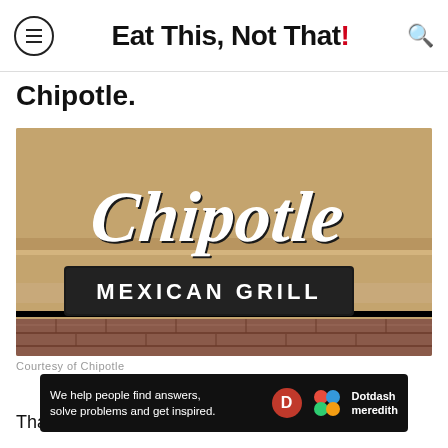Eat This, Not That!
Chipotle.
[Figure (photo): Chipotle Mexican Grill exterior sign on a tan/beige wall above brick facade. White script 'Chipotle' letters mounted on wall with a dark rectangular sign reading 'MEXICAN GRILL' in white caps below.]
Courtesy of Chipotle
We help people find answers, solve problems and get inspired.
That's  ...althy